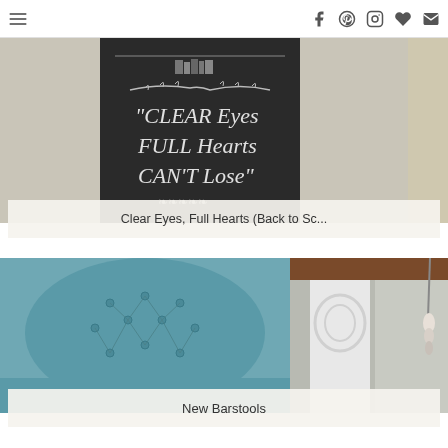Navigation and social icons bar
[Figure (photo): Chalkboard sign with 'Clear Eyes Full Hearts Can't Lose' text in white chalk lettering on black background, flanked by neutral beige walls]
Clear Eyes, Full Hearts (Back to Sc...
[Figure (photo): Teal tufted barstool/chair in foreground with white ornate fireplace mantle in background]
New Barstools